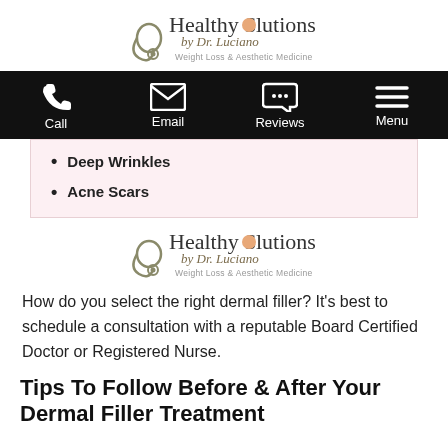Healthy Solutions by Dr. Luciano — Weight Loss & Aesthetic Medicine (logo)
[Figure (other): Navigation bar with icons: Call, Email, Reviews, Menu on black background]
Deep Wrinkles
Acne Scars
[Figure (logo): Healthy Solutions by Dr. Luciano — Weight Loss & Aesthetic Medicine logo]
How do you select the right dermal filler? It’s best to schedule a consultation with a reputable Board Certified Doctor or Registered Nurse.
Tips To Follow Before & After Your Dermal Filler Treatment